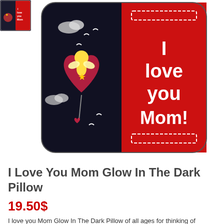[Figure (photo): Thumbnail image of I Love You Mom Glow In The Dark Pillow — small square pillow with red and black design]
[Figure (photo): Main product image of I Love You Mom Glow In The Dark Pillow — square decorative pillow with black left half showing a cartoon angel on a heart with birds and clouds, and red right half with white text reading 'I love you Mom!' and decorative border details]
I Love You Mom Glow In The Dark Pillow
19.50$
I love you Mom Glow In The Dark Pillow of all ages for thinking of